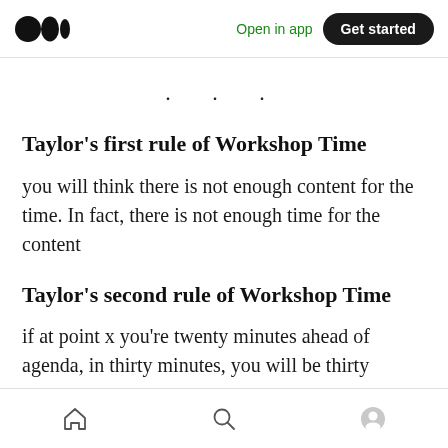Medium logo | Open in app | Get started
· · ·
Taylor's first rule of Workshop Time
you will think there is not enough content for the time. In fact, there is not enough time for the content
Taylor's second rule of Workshop Time
if at point x you're twenty minutes ahead of agenda, in thirty minutes, you will be thirty
Home | Search | Profile